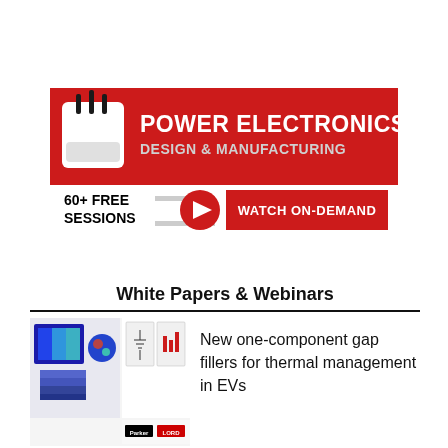[Figure (infographic): Power Electronics Design & Manufacturing advertisement banner. Red background with a white device icon (router/modem with three antennas). Text reads 'POWER ELECTRONICS DESIGN & MANUFACTURING'. Below on a white bar: '60+ FREE SESSIONS' with a red play button and red 'WATCH ON-DEMAND' button.]
White Papers & Webinars
[Figure (photo): Thumbnail image for a white paper about thermal gap fillers for EVs. Shows 3D thermal simulation images on the left side and schematic diagrams on the right, with Parker LORD branding at the bottom.]
New one-component gap fillers for thermal management in EVs